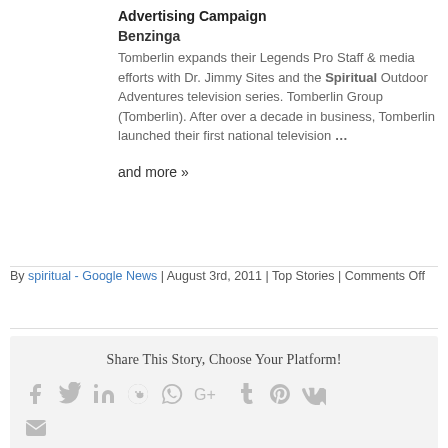Advertising Campaign
Benzinga
Tomberlin expands their Legends Pro Staff & media efforts with Dr. Jimmy Sites and the Spiritual Outdoor Adventures television series. Tomberlin Group (Tomberlin). After over a decade in business, Tomberlin launched their first national television …
and more »
By spiritual - Google News | August 3rd, 2011 | Top Stories | Comments Off
Share This Story, Choose Your Platform!